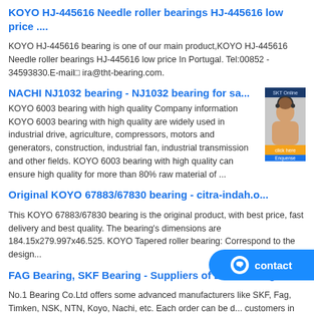KOYO HJ-445616 Needle roller bearings HJ-445616 low price ....
KOYO HJ-445616 bearing is one of our main product,KOYO HJ-445616 Needle roller bearings HJ-445616 low price In Portugal. Tel:00852 - 34593830.E-mail□ ira@tht-bearing.com.
NACHI NJ1032 bearing - NJ1032 bearing for sa...
[Figure (photo): Chat/customer service widget showing a woman with headset]
KOYO 6003 bearing with high quality Company information KOYO 6003 bearing with high quality are widely used in industrial drive, agriculture, compressors, motors and generators, construction, industrial fan, industrial transmission and other fields. KOYO 6003 bearing with high quality can ensure high quality for more than 80% raw material of ...
Original KOYO 67883/67830 bearing - citra-indah.o...
This KOYO 67883/67830 bearing is the original product, with best price, fast delivery and best quality. The bearing's dimensions are 184.15x279.997x46.525. KOYO Tapered roller bearing: Correspond to the design...
FAG Bearing, SKF Bearing - Suppliers of Ball Bearings ....
No.1 Bearing Co.Ltd offers some advanced manufacturers like SKF, Fag, Timken, NSK, NTN, Koyo, Nachi, etc. Each order can be d... customers in the world within 7 days through DHL and Ai...
KOYO 67883/67830 Tapered roller bearings 67883/67830...